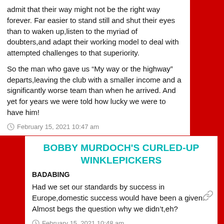admit that their way might not be the right way forever. Far easier to stand still and shut their eyes than to waken up,listen to the myriad of doubters,and adapt their working model to deal with attempted challenges to that superiority.
So the man who gave us “My way or the highway” departs,leaving the club with a smaller income and a significantly worse team than when he arrived. And yet for years we were told how lucky we were to have him!
February 15, 2021 10:47 am
BOBBY MURDOCH’S CURLED-UP WINKLEPICKERS
BADABING
Had we set our standards by success in Europe,domestic success would have been a given. Almost begs the question why we didn’t,eh?
February 15, 2021 10:48 am